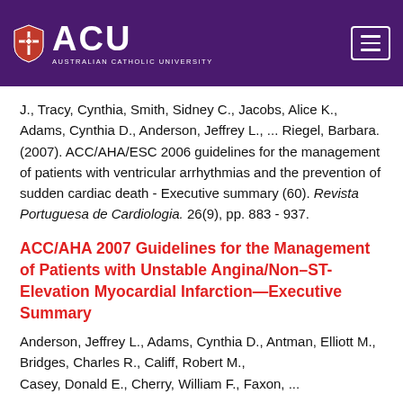ACU — Australian Catholic University
J., Tracy, Cynthia, Smith, Sidney C., Jacobs, Alice K., Adams, Cynthia D., Anderson, Jeffrey L., ... Riegel, Barbara. (2007). ACC/AHA/ESC 2006 guidelines for the management of patients with ventricular arrhythmias and the prevention of sudden cardiac death - Executive summary (60). Revista Portuguesa de Cardiologia. 26(9), pp. 883 - 937.
ACC/AHA 2007 Guidelines for the Management of Patients with Unstable Angina/Non–ST-Elevation Myocardial Infarction—Executive Summary
Anderson, Jeffrey L., Adams, Cynthia D., Antman, Elliott M., Bridges, Charles R., Califf, Robert M., Casey, Donald E., Cherry, William F., Faxon, ...